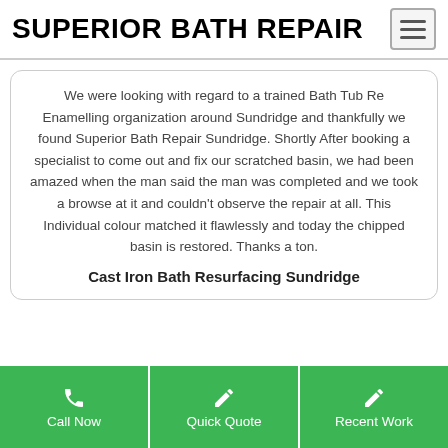SUPERIOR BATH REPAIR
We were looking with regard to a trained Bath Tub Re Enamelling organization around Sundridge and thankfully we found Superior Bath Repair Sundridge. Shortly After booking a specialist to come out and fix our scratched basin, we had been amazed when the man said the man was completed and we took a browse at it and couldn't observe the repair at all. This Individual colour matched it flawlessly and today the chipped basin is restored. Thanks a ton.
Cast Iron Bath Resurfacing Sundridge
Call Now
Quick Quote
Recent Work